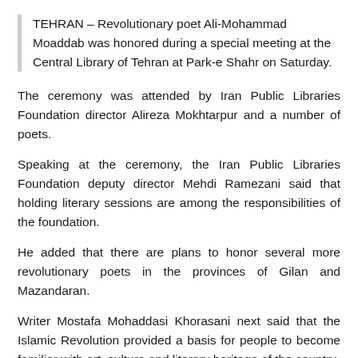TEHRAN – Revolutionary poet Ali-Mohammad Moaddab was honored during a special meeting at the Central Library of Tehran at Park-e Shahr on Saturday.
The ceremony was attended by Iran Public Libraries Foundation director Alireza Mokhtarpur and a number of poets.
Speaking at the ceremony, the Iran Public Libraries Foundation deputy director Mehdi Ramezani said that holding literary sessions are among the responsibilities of the foundation.
He added that there are plans to honor several more revolutionary poets in the provinces of Gilan and Mazandaran.
Writer Mostafa Mohaddasi Khorasani next said that the Islamic Revolution provided a basis for people to become familiar with art, culture and literary heritage of the country.
He called revolutionary poetry a kind of comprehensive and